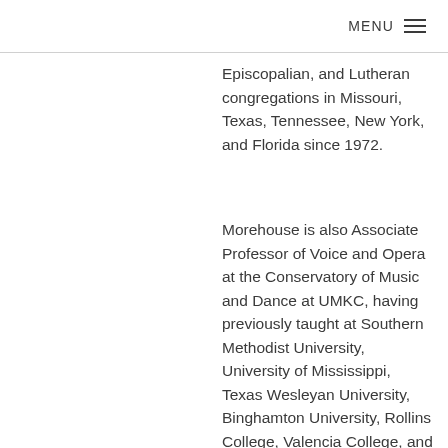MENU
Episcopalian, and Lutheran congregations in Missouri, Texas, Tennessee, New York, and Florida since 1972.
Morehouse is also Associate Professor of Voice and Opera at the Conservatory of Music and Dance at UMKC, having previously taught at Southern Methodist University, University of Mississippi, Texas Wesleyan University, Binghamton University, Rollins College, Valencia College, and Lake-Sumter State College. Simultaneously, he has held summer appointments with the